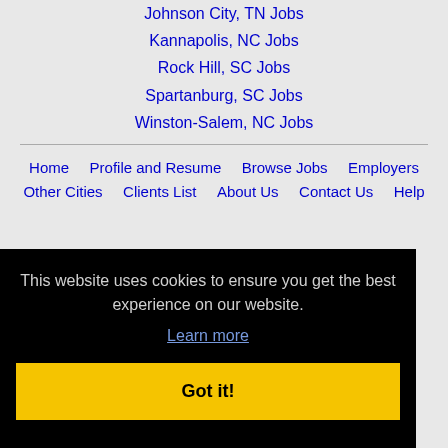Johnson City, TN Jobs
Kannapolis, NC Jobs
Rock Hill, SC Jobs
Spartanburg, SC Jobs
Winston-Salem, NC Jobs
Home | Profile and Resume | Browse Jobs | Employers | Other Cities | Clients List | About Us | Contact Us | Help
This website uses cookies to ensure you get the best experience on our website. Learn more Got it!